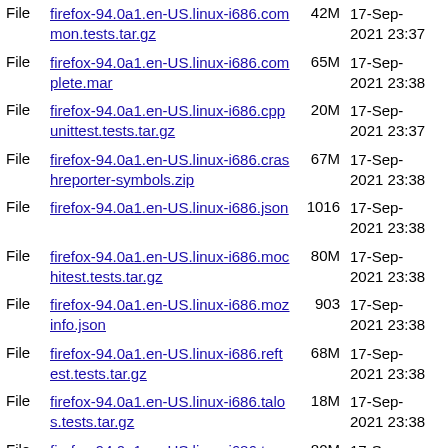File  firefox-94.0a1.en-US.linux-i686.common.tests.tar.gz  42M  17-Sep-2021 23:37
File  firefox-94.0a1.en-US.linux-i686.complete.mar  65M  17-Sep-2021 23:38
File  firefox-94.0a1.en-US.linux-i686.cppunittest.tests.tar.gz  20M  17-Sep-2021 23:37
File  firefox-94.0a1.en-US.linux-i686.crashreporter-symbols.zip  67M  17-Sep-2021 23:38
File  firefox-94.0a1.en-US.linux-i686.json  1016  17-Sep-2021 23:38
File  firefox-94.0a1.en-US.linux-i686.mochitest.tests.tar.gz  80M  17-Sep-2021 23:38
File  firefox-94.0a1.en-US.linux-i686.mozinfo.json  903  17-Sep-2021 23:38
File  firefox-94.0a1.en-US.linux-i686.reftest.tests.tar.gz  68M  17-Sep-2021 23:38
File  firefox-94.0a1.en-US.linux-i686.talos.tests.tar.gz  18M  17-Sep-2021 23:38
File  firefox-94.0a1.en-US.linux-i686.tar.bz2  80M  17-Sep-2021 23:38
File  firefox-94.0a1.en-US.linux-i686.tar.bz2.asc  833  17-Sep-2021 23:38
File  firefox-94.0a1.en-US.linux-  1K  17-Sep-